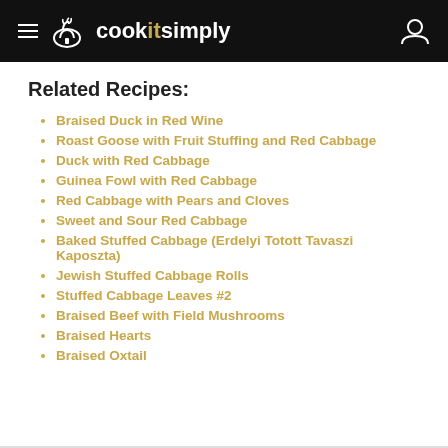cookitsimply
Related Recipes:
Braised Duck in Red Wine
Roast Goose with Fruit Stuffing and Red Cabbage
Duck with Red Cabbage
Guinea Fowl with Red Cabbage
Red Cabbage with Pears and Cloves
Sweet and Sour Red Cabbage
Baked Stuffed Cabbage (Erdelyi Totott Tavaszi Kaposzta)
Jewish Stuffed Cabbage Rolls
Stuffed Cabbage Leaves #2
Braised Beef with Field Mushrooms
Braised Hearts
Braised Oxtail